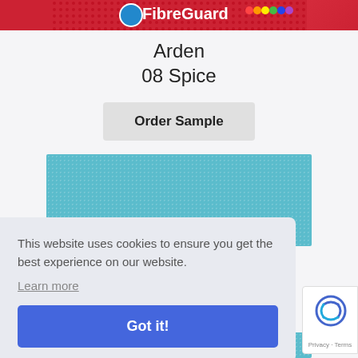[Figure (logo): FibreGuard logo banner with circular blue logo mark and colorful text on red/pink patterned background]
Arden
08 Spice
[Figure (other): Order Sample button - light grey rounded button]
[Figure (photo): Teal/turquoise fabric swatch texture with dot pattern]
This website uses cookies to ensure you get the best experience on our website.
Learn more
Got it!
[Figure (other): reCAPTCHA badge with Google reCAPTCHA icon, Privacy and Terms links]
[Figure (photo): Bottom teal fabric swatch partially visible]